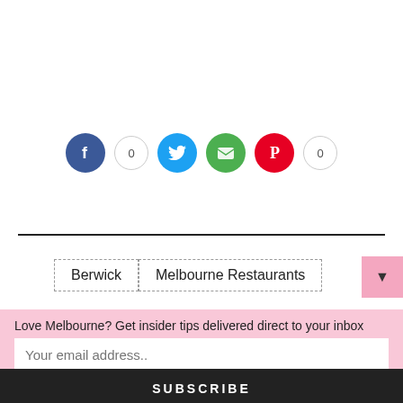[Figure (infographic): Social media share buttons: Facebook circle (blue), count badge '0', Twitter circle (light blue), Email circle (green), Pinterest circle (red), count badge '0']
Berwick | Melbourne Restaurants
Love Melbourne? Get insider tips delivered direct to your inbox
Your email address..
SUBSCRIBE